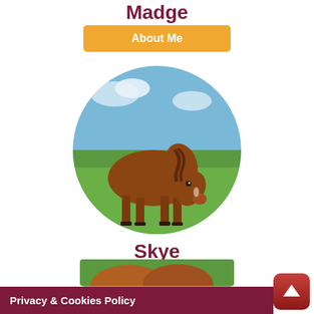Madge
About Me
[Figure (photo): A brown horse standing in a green field, photographed from the side, with sky and trees in background. Image is cropped in a circle.]
Skye
About Me
[Figure (photo): Partial view of another brown/chestnut horse at the bottom of the page, partially cropped.]
Privacy & Cookies Policy